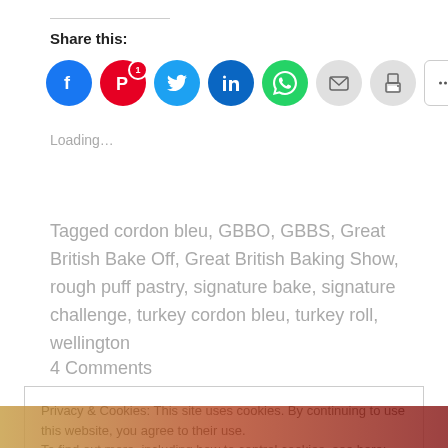Share this:
[Figure (infographic): Social share buttons: Facebook (blue circle), Pinterest (red circle with badge '1'), Twitter (cyan circle), LinkedIn (teal circle), WhatsApp (green circle), Email (grey circle), Print (grey circle), More button]
Loading...
Tagged cordon bleu, GBBO, GBBS, Great British Bake Off, Great British Baking Show, rough puff pastry, signature bake, signature challenge, turkey cordon bleu, turkey roll, wellington
4 Comments
Privacy & Cookies: This site uses cookies. By continuing to use this website, you agree to their use.
To find out more, including how to control cookies, see here: Cookie Policy
Close and accept